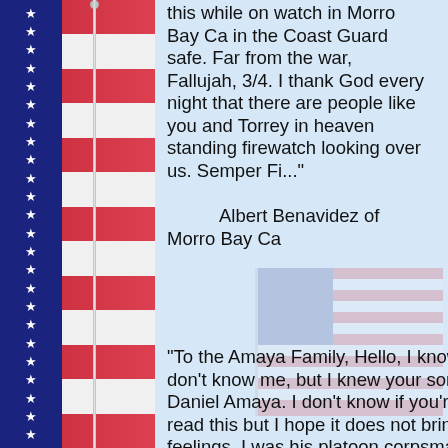[Figure (illustration): American flag border on left side with blue stars field and red/white stripes, plus faded flag watermark in background]
this while on watch in Morro Bay Ca in the Coast Guard safe. Far from the war, Fallujah, 3/4. I thank God every night that there are people like you and Torrey in heaven standing firewatch looking over us. Semper Fi..."
        Albert Benavidez of Morro Bay Ca
"To the Amaya Family, Hello, I know you don't know me, but I knew your son, Cpl Daniel Amaya. I don't know if you're going to read this but I hope it does not bring up old feelings. I was his platoon corpsman in Iraq on the day he passed. I am deeply sorry for your loss, I wish everyday that